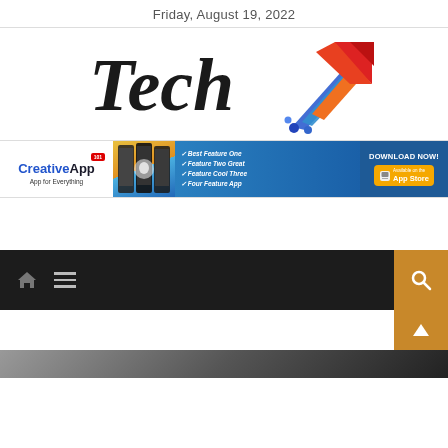Friday, August 19, 2022
[Figure (logo): Tech logo with stylized script 'Tech' in dark/black hand-lettered font and a colorful upward arrow icon (red, orange, yellow gradient) with blue circuit-like elements below]
[Figure (infographic): CreativeApp advertisement banner: white left section with 'CreativeApp' branding and 'App for Everything' tagline, center section showing smartphone images on gradient background, blue right section listing features (Best Feature One, Feature Two Great, Feature Cool Three, Four Feature App) with 'DOWNLOAD NOW!' and App Store button]
[Figure (screenshot): Dark navigation bar with home icon, hamburger menu on dark background (#1e1e1e), orange search button on right side, and partial view of a content image below]